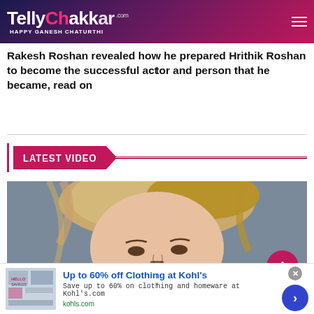TellyChakkar.com HAPPY GANESH CHATURTHI
Rakesh Roshan revealed how he prepared Hrithik Roshan to become the successful actor and person that he became, read on
LATEST VIDEO
[Figure (photo): Close-up photo of a blonde woman's face (video thumbnail) with 'infolinks' badge at bottom left and a pink upload/share button at bottom right]
Up to 60% off Clothing at Kohl's
Save up to 60% on clothing and homeware at Kohl's.com
kohls.com